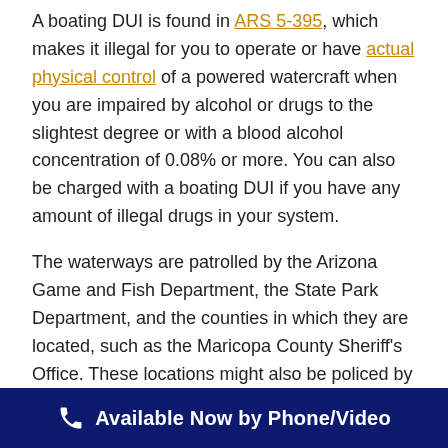A boating DUI is found in ARS 5-395, which makes it illegal for you to operate or have actual physical control of a powered watercraft when you are impaired by alcohol or drugs to the slightest degree or with a blood alcohol concentration of 0.08% or more. You can also be charged with a boating DUI if you have any amount of illegal drugs in your system.
The waterways are patrolled by the Arizona Game and Fish Department, the State Park Department, and the counties in which they are located, such as the Maricopa County Sheriff's Office. These locations might also be policed by federal officers, including at
Available Now by Phone/Video